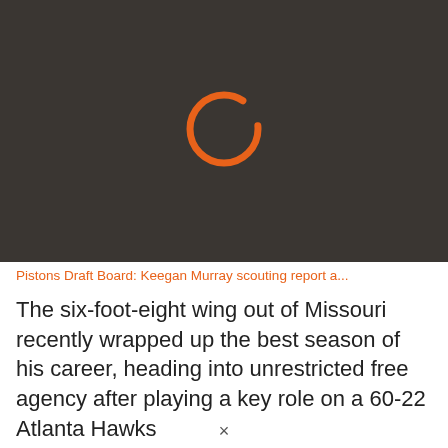[Figure (screenshot): Dark gray video thumbnail with an orange circular loading/play icon in the center]
Pistons Draft Board: Keegan Murray scouting report a...
The six-foot-eight wing out of Missouri recently wrapped up the best season of his career, heading into unrestricted free agency after playing a key role on a 60-22 Atlanta Hawks
×